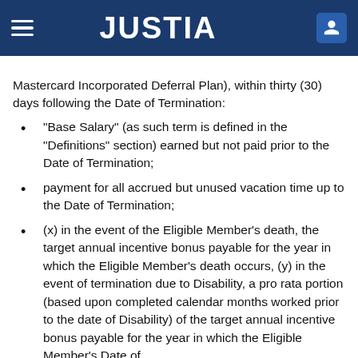JUSTIA
Mastercard Incorporated Deferral Plan), within thirty (30) days following the Date of Termination:
“Base Salary” (as such term is defined in the “Definitions” section) earned but not paid prior to the Date of Termination;
payment for all accrued but unused vacation time up to the Date of Termination;
(x) in the event of the Eligible Member’s death, the target annual incentive bonus payable for the year in which the Eligible Member’s death occurs, (y) in the event of termination due to Disability, a pro rata portion (based upon completed calendar months worked prior to the date of Disability) of the target annual incentive bonus payable for the year in which the Eligible Member’s Date of